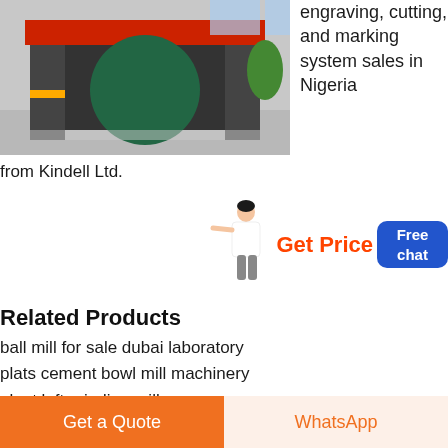[Figure (photo): Industrial machinery/mill equipment in a factory setting]
engraving, cutting, and marking system sales in Nigeria
from Kindell Ltd.
[Figure (illustration): Person/assistant illustration with Get Price button and Free chat button]
Related Products
ball mill for sale dubai laboratory
plats cement bowl mill machinery
plant left grinding mill
vertical roller mill in nauru
mining engineering what is a ball mill
cost of planet ball mill japan
ball mill small hard rock
Get a Quote | WhatsApp